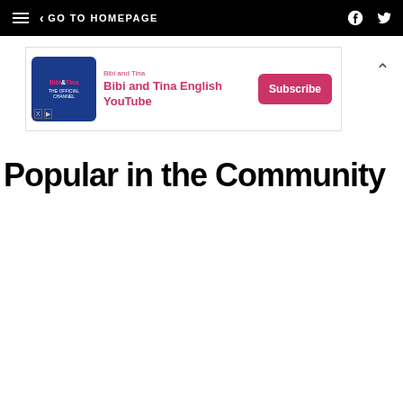≡  < GO TO HOMEPAGE
[Figure (infographic): Advertisement banner for Bibi and Tina English YouTube channel with Subscribe button]
Popular in the Community